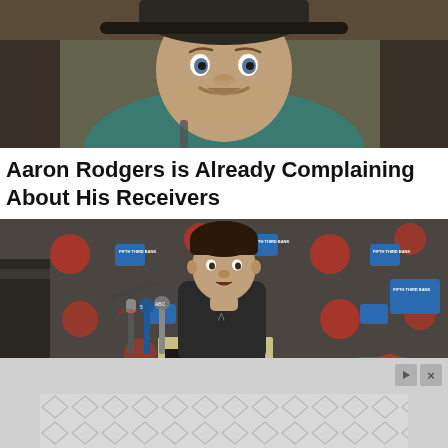[Figure (photo): Aaron Rodgers in a Green Bay Packers cap and teal shirt, sitting in a locker room, looking at the camera with a surprised expression and a mustache]
Aaron Rodgers is Already Complaining About His Receivers
[Figure (photo): A man speaking at a press conference podium with microphones, in front of a Chicago Blackhawks and Fifth Third Bank branded backdrop]
[Figure (other): Advertisement banner with diamond/chevron pattern, play and close (X) buttons]